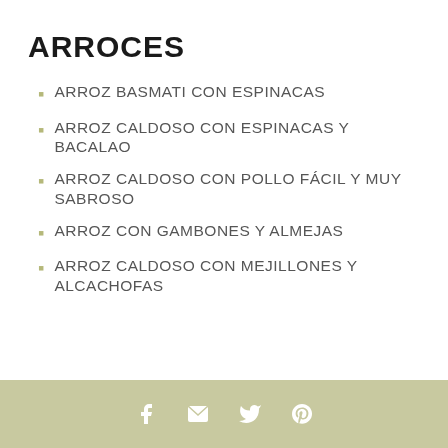ARROCES
ARROZ BASMATI CON ESPINACAS
ARROZ CALDOSO CON ESPINACAS Y BACALAO
ARROZ CALDOSO CON POLLO FÁCIL Y MUY SABROSO
ARROZ CON GAMBONES Y ALMEJAS
ARROZ CALDOSO CON MEJILLONES Y ALCACHOFAS
f  ✉  y  p